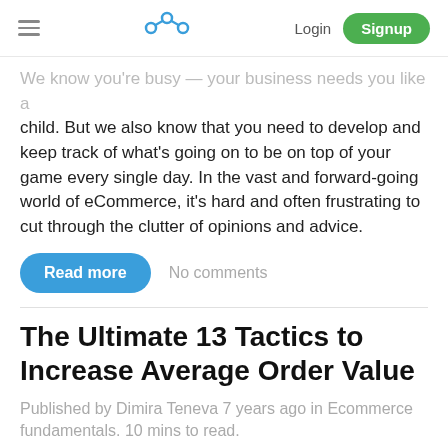≡  [logo]  Login  Signup
We know you're busy — your business needs you like a child. But we also know that you need to develop and keep track of what's going on to be on top of your game every single day. In the vast and forward-going world of eCommerce, it's hard and often frustrating to cut through the clutter of opinions and advice.
Read more   No comments
The Ultimate 13 Tactics to Increase Average Order Value
Published by Dimira Teneva 7 years ago in Ecommerce fundamentals. 10 mins to read.